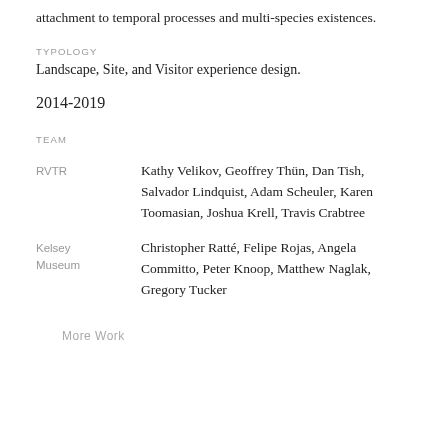attachment to temporal processes and multi-species existences.
TYPOLOGY
Landscape, Site, and Visitor experience design.
2014-2019
TEAM
RVTR
Kathy Velikov, Geoffrey Thün, Dan Tish, Salvador Lindquist, Adam Scheuler, Karen Toomasian, Joshua Krell, Travis Crabtree
Kelsey Museum
Christopher Ratté, Felipe Rojas, Angela Committo, Peter Knoop, Matthew Naglak, Gregory Tucker
More Work